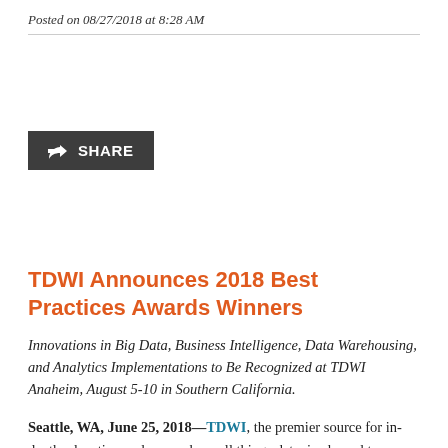Posted on 08/27/2018 at 8:28 AM
[Figure (other): Dark grey share button with share icon and text SHARE]
TDWI Announces 2018 Best Practices Awards Winners
Innovations in Big Data, Business Intelligence, Data Warehousing, and Analytics Implementations to Be Recognized at TDWI Anaheim, August 5-10 in Southern California.
Seattle, WA, June 25, 2018—TDWI, the premier source for in-depth education and research on all things data, is pleased to announce the 2018 winners